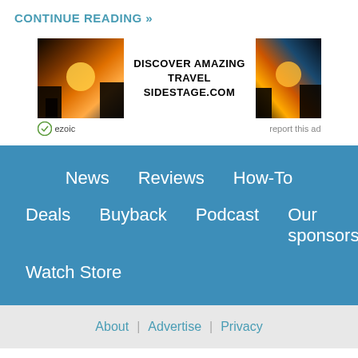CONTINUE READING »
[Figure (other): Advertisement banner for sidestage.com travel website with sunset landscape images on left and right, text 'DISCOVER AMAZING TRAVEL SIDESTAGE.COM' in center, ezoic badge and 'report this ad' link below]
News   Reviews   How-To
Deals   Buyback   Podcast   Our sponsors
Watch Store
About | Advertise | Privacy